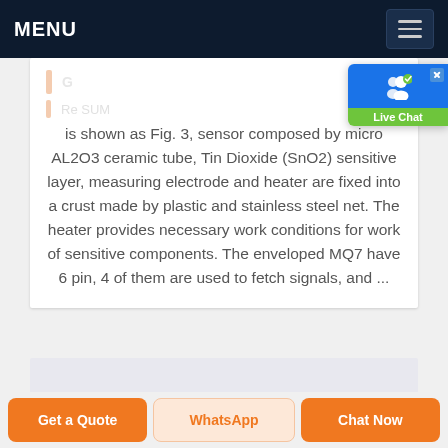MENU
is shown as Fig. 3, sensor composed by micro AL2O3 ceramic tube, Tin Dioxide (SnO2) sensitive layer, measuring electrode and heater are fixed into a crust made by plastic and stainless steel net. The heater provides necessary work conditions for work of sensitive components. The enveloped MQ7 have 6 pin, 4 of them are used to fetch signals, and ...
Get a Quote | WhatsApp | Chat Now